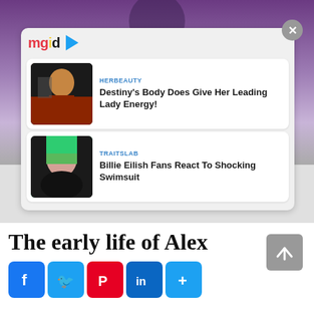[Figure (screenshot): Background image of a person in black outfit against purple wall, partially visible]
[Figure (screenshot): MGID advertisement overlay with two sponsored content cards: 1) HERBEAUTY - Destiny's Body Does Give Her Leading Lady Energy! with thumbnail of woman in red pants; 2) TRAITSLAB - Billie Eilish Fans React To Shocking Swimsuit with thumbnail of Billie Eilish with green hair]
The early life of Alex
[Figure (infographic): Social sharing buttons: Facebook, Twitter, Pinterest, LinkedIn, and More (+)]
[Figure (infographic): Scroll to top button (grey arrow up)]